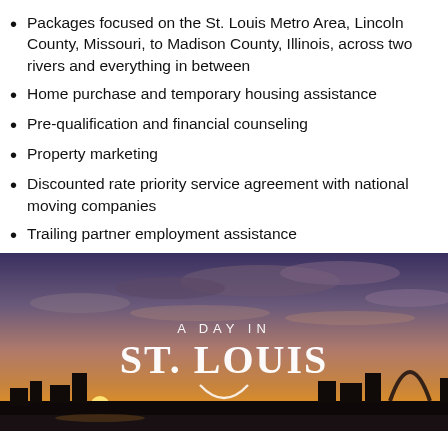Packages focused on the St. Louis Metro Area, Lincoln County, Missouri, to Madison County, Illinois, across two rivers and everything in between
Home purchase and temporary housing assistance
Pre-qualification and financial counseling
Property marketing
Discounted rate priority service agreement with national moving companies
Trailing partner employment assistance
[Figure (photo): Sunset skyline photo of St. Louis with text overlay reading 'A DAY IN ST. LOUIS' and the Gateway Arch silhouette visible]